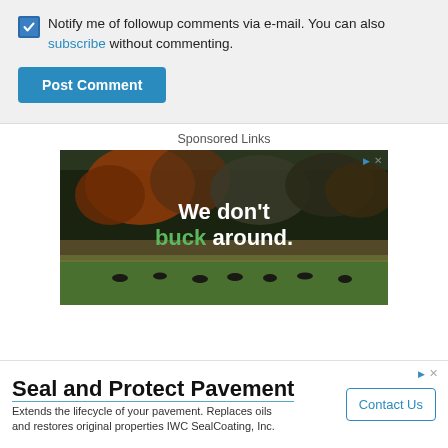Notify me of followup comments via e-mail. You can also subscribe without commenting.
Post Comment
Sponsored Links
[Figure (photo): Advertisement banner showing a forest scene with deer grazing on a green field. Text overlay reads: 'We don’t buck around.' with 'buck' in green.]
Seal and Protect Pavement
Extends the lifecycle of your pavement. Replaces oils and restores original properties IWC SealCoating, Inc.
Contact Us